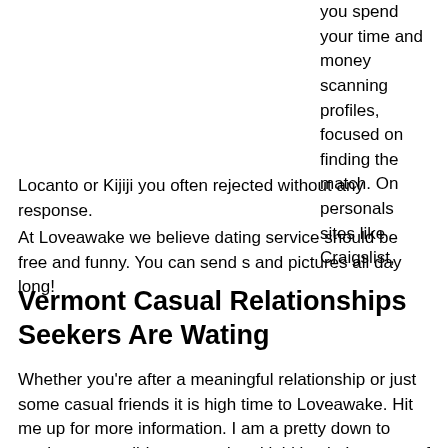you spend your time and money scanning profiles, focused on finding the match. On personals sites like Craigslist, Locanto or Kijiji you often rejected without any response.
At Loveawake we believe dating service should be free and funny. You can send s and pictures all day long!
Vermont Casual Relationships Seekers Are Wating
Whether you're after a meaningful relationship or just some casual friends it is high time to Loveawake. Hit me up for more information. I am a pretty down to earth person,mild mannered and laid back. I am sort of a shy person,kind of a loner,not too many friends, for various reasons.